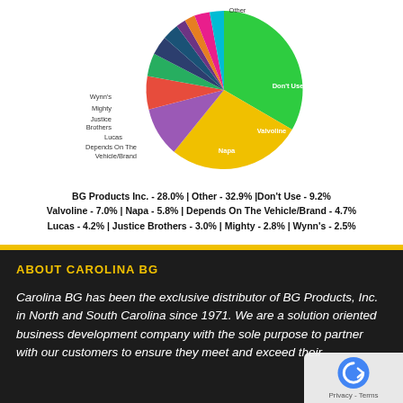[Figure (pie-chart): Brand Preference Pie Chart]
BG Products Inc. - 28.0% | Other - 32.9% | Don't Use - 9.2% Valvoline - 7.0% | Napa - 5.8% | Depends On The Vehicle/Brand - 4.7% Lucas - 4.2% | Justice Brothers - 3.0% | Mighty - 2.8% | Wynn's - 2.5%
ABOUT CAROLINA BG
Carolina BG has been the exclusive distributor of BG Products, Inc. in North and South Carolina since 1971. We are a solution oriented business development company with the sole purpose to partner with our customers to ensure they meet and exceed their